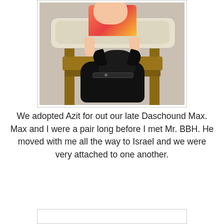[Figure (photo): A baby sitting in a wooden high chair with a food tray, and a black dog sitting beneath/beside the high chair looking up at the baby.]
We adopted Azit for out our late Daschound Max. Max and I were a pair long before I met Mr. BBH. He moved with me all the way to Israel and we were very attached to one another.